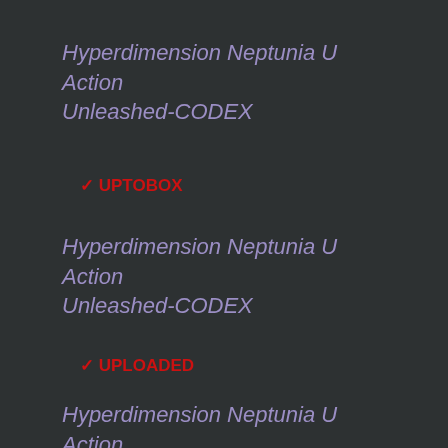Hyperdimension Neptunia U Action Unleashed-CODEX
✓ UPTOBOX
Hyperdimension Neptunia U Action Unleashed-CODEX
✓ UPLOADED
Hyperdimension Neptunia U Action Unleashed-CODEX